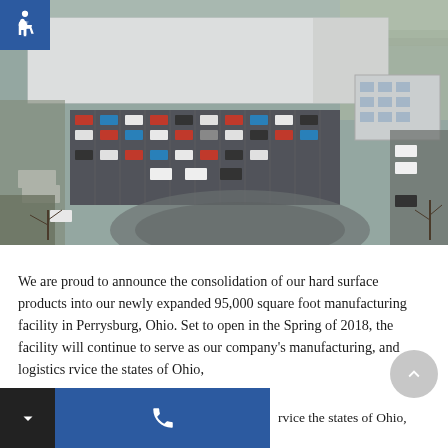[Figure (photo): Aerial drone photograph of a large white industrial/manufacturing facility in Perrysburg, Ohio, showing a parking lot filled with vehicles, surrounding roads, and bare winter trees in the background.]
We are proud to announce the consolidation of our hard surface products into our newly expanded 95,000 square foot manufacturing facility in Perrysburg, Ohio. Set to open in the Spring of 2018, the facility will continue to serve as our company's manufacturing, and logistics rvice the states of Ohio,